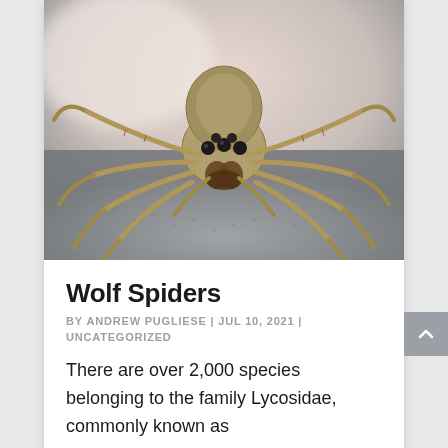[Figure (photo): Close-up macro photograph of a wolf spider (family Lycosidae) viewed from the front, showing eight eyes and hairy tan/brown legs spread wide on a grey textured surface. Blurred light background.]
Wolf Spiders
BY ANDREW PUGLIESE | JUL 10, 2021 | UNCATEGORIZED
There are over 2,000 species belonging to the family Lycosidae, commonly known as